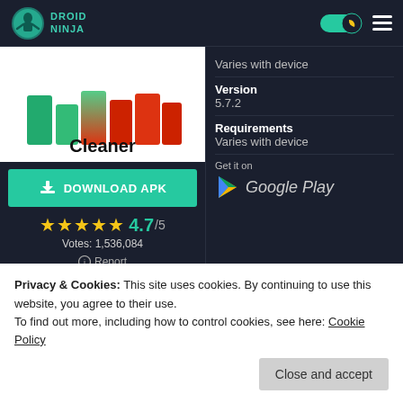DROID NINJA
[Figure (screenshot): Cleaner app icon with colorful graphic and Cleaner label]
DOWNLOAD APK
★★★★★ 4.7/5 Votes: 1,536,084
ⓘ Report
Varies with device
Version
5.7.2
Requirements
Varies with device
Get it on
Google Play
Privacy & Cookies: This site uses cookies. By continuing to use this website, you agree to their use.
To find out more, including how to control cookies, see here: Cookie Policy
Close and accept